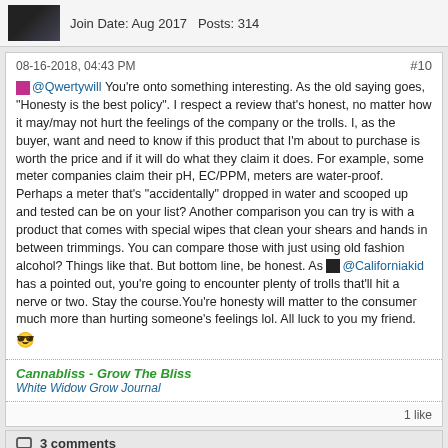Join Date: Aug 2017   Posts: 314
08-16-2018, 04:43 PM   #10
@Qwertywill You're onto something interesting. As the old saying goes, "Honesty is the best policy". I respect a review that's honest, no matter how it may/may not hurt the feelings of the company or the trolls. I, as the buyer, want and need to know if this product that I'm about to purchase is worth the price and if it will do what they claim it does. For example, some meter companies claim their pH, EC/PPM, meters are water-proof. Perhaps a meter that's "accidentally" dropped in water and scooped up and tested can be on your list? Another comparison you can try is with a product that comes with special wipes that clean your shears and hands in between trimmings. You can compare those with just using old fashion alcohol? Things like that. But bottom line, be honest. As @Californiakid has a pointed out, you're going to encounter plenty of trolls that'll hit a nerve or two. Stay the course.You're honesty will matter to the consumer much more than hurting someone's feelings lol. All luck to you my friend. 😎
Cannabliss - Grow The Bliss
White Widow Grow Journal
1 like
3 comments
Qwertywill commented   #10.1